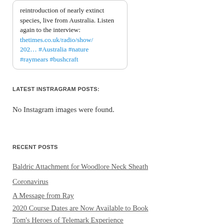reintroduction of nearly extinct species, live from Australia. Listen again to the interview: thetimes.co.uk/radio/show/202… #Australia #nature #raymears #bushcraft
LATEST INSTRAGRAM POSTS:
No Instagram images were found.
RECENT POSTS
Baldric Attachment for Woodlore Neck Sheath
Coronavirus
A Message from Ray
2020 Course Dates are Now Available to Book
Tom's Heroes of Telemark Experience